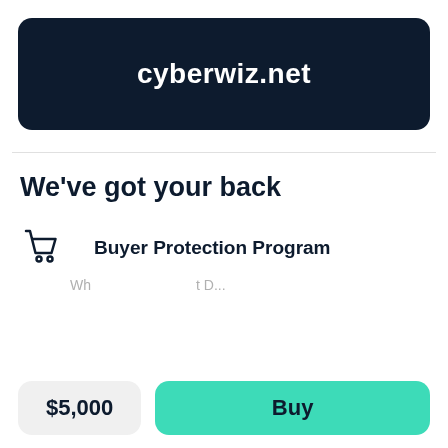cyberwiz.net
We've got your back
Buyer Protection Program
When you buy a domain at Dan...
$5,000
Buy